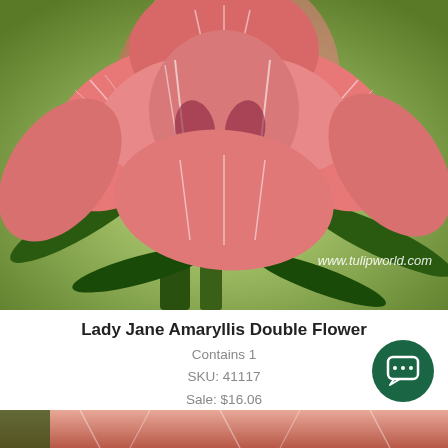[Figure (photo): Close-up photograph of Lady Jane Amaryllis Double Flower showing large pink and white double blooms with green stems and leaves. Watermark text 'www.tulipworld.com' visible in lower right corner.]
Lady Jane Amaryllis Double Flower
Contains 1
SKU: 41117
Sale: $16.06
Availability: Out of Stock
★★★★★ (4)
[Figure (photo): Partial view of another flower product at the bottom of the page, showing pink/red tones.]